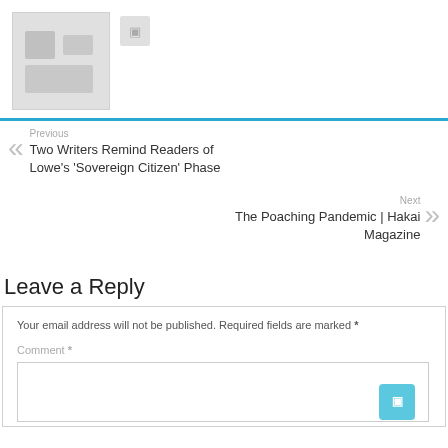[Figure (photo): Thumbnail image placeholder, grayish square]
[Figure (other): Small gray icon button]
Previous
Two Writers Remind Readers of Lowe's 'Sovereign Citizen' Phase
Next
The Poaching Pandemic | Hakai Magazine
Leave a Reply
Your email address will not be published. Required fields are marked *
Comment *